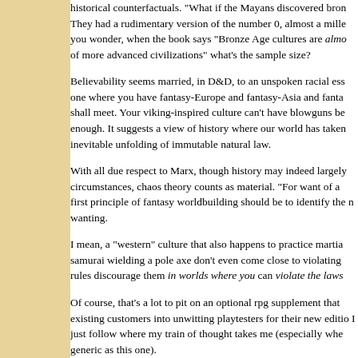historical counterfactuals. "What if the Mayans discovered bron They had a rudimentary version of the number 0, almost a mille you wonder, when the book says "Bronze Age cultures are almost of more advanced civilizations" what's the sample size?
Believability seems married, in D&D, to an unspoken racial ess one where you have fantasy-Europe and fantasy-Asia and fanta shall meet. Your viking-inspired culture can't have blowguns be enough. It suggests a view of history where our world has taken inevitable unfolding of immutable natural law.
With all due respect to Marx, though history may indeed largely circumstances, chaos theory counts as material. "For want of a first principle of fantasy worldbuilding should be to identify the n wanting.
I mean, a "western" culture that also happens to practice martia samurai wielding a pole axe don't even come close to violating rules discourage them in worlds where you can violate the laws
Of course, that's a lot to pit on an optional rpg supplement that existing customers into unwitting playtesters for their new editio I just follow where my train of thought takes me (especially whe generic as this one).